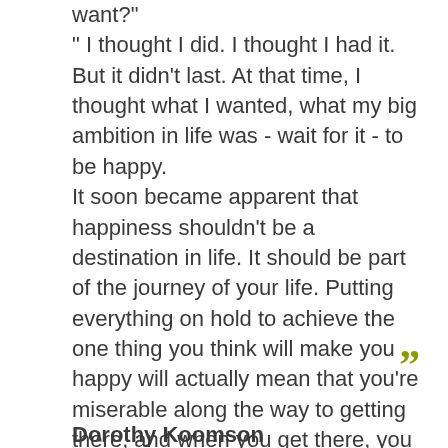want?"
" I thought I did. I thought I had it. But it didn't last. At that time, I thought what I wanted, what my big ambition in life was - wait for it - to be happy.
It soon became apparent that happiness shouldn't be a destination in life. It should be part of the journey of your life. Putting everything on hold to achieve the one thing you think will make you happy will actually mean that you're miserable along the way to getting there, and when you get there, you might find that the thing you wanted doesn't make you as happy as you thought it would. Or worse, you've completely forgotten how to be happy.
Dorothy Koomson